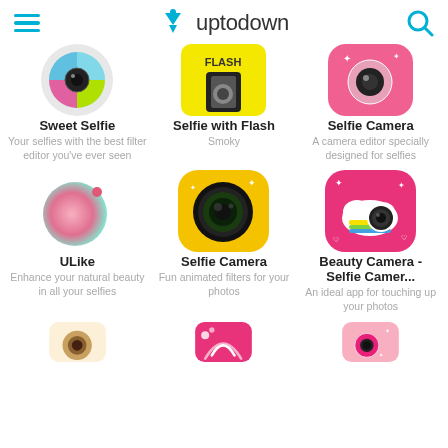uptodown
[Figure (screenshot): Sweet Selfie app icon - colorful circular camera lens]
[Figure (screenshot): Selfie with Flash app icon - yellow background with hand holding phone]
[Figure (screenshot): Selfie Camera app icon - pink sparkly camera]
Sweet Selfie
Your selfies with the best filter editor you've ever seen
Selfie with Flash
Smoky
Selfie Camera
A camera editor specially designed for selfies
[Figure (screenshot): ULike app icon - pink circle on white background]
[Figure (screenshot): Selfie Camera app icon - yellow rounded square with camera lens]
[Figure (screenshot): Beauty Camera - Selfie Camera app icon - pink rounded square with rainbow camera]
ULike
Enhance your natural beauty in all your selfies
Selfie Camera
Fun animated filters for your photos
Beauty Camera - Selfie Camer...
An ideal app for touching up your photos
[Figure (screenshot): Bottom left app icon - beige/floral]
[Figure (screenshot): Bottom center app icon - pink with arc/wifi symbol]
[Figure (screenshot): Bottom right app icon - pink/sparkles camera]